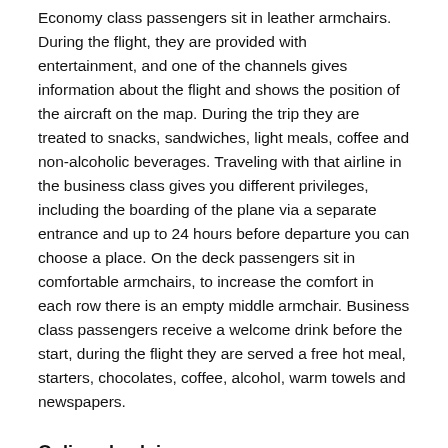Economy class passengers sit in leather armchairs. During the flight, they are provided with entertainment, and one of the channels gives information about the flight and shows the position of the aircraft on the map. During the trip they are treated to snacks, sandwiches, light meals, coffee and non-alcoholic beverages. Traveling with that airline in the business class gives you different privileges, including the boarding of the plane via a separate entrance and up to 24 hours before departure you can choose a place. On the deck passengers sit in comfortable armchairs, to increase the comfort in each row there is an empty middle armchair. Business class passengers receive a welcome drink before the start, during the flight they are served a free hot meal, starters, chocolates, coffee, alcohol, warm towels and newspapers.
Online check-in
When traveling with Aegean Airlines from 48 hours up to 30